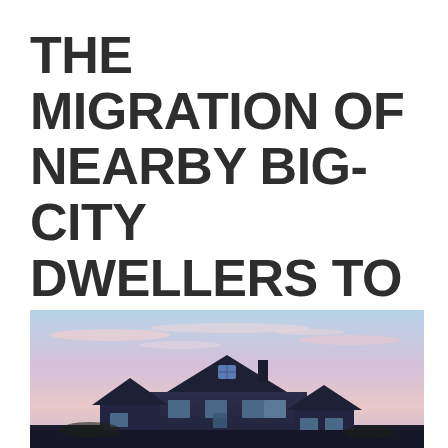THE MIGRATION OF NEARBY BIG-CITY DWELLERS TO SMALLER, MORE AFFORDABLE CITIES WILL CONTINUE
[Figure (photo): A residential house with a gabled roof photographed at dusk/dawn against a pink and blue sky with soft clouds. The house has a dark blue-gray exterior with white trim and a small window in the upper gable.]